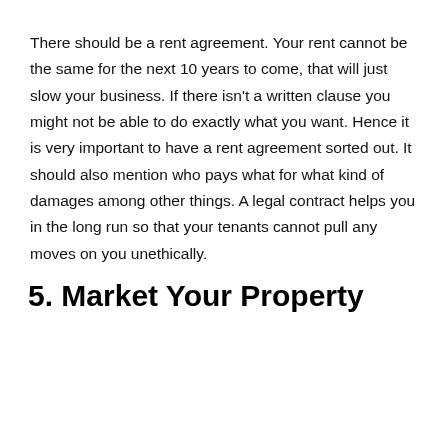There should be a rent agreement. Your rent cannot be the same for the next 10 years to come, that will just slow your business. If there isn't a written clause you might not be able to do exactly what you want. Hence it is very important to have a rent agreement sorted out. It should also mention who pays what for what kind of damages among other things. A legal contract helps you in the long run so that your tenants cannot pull any moves on you unethically.
5. Market Your Property